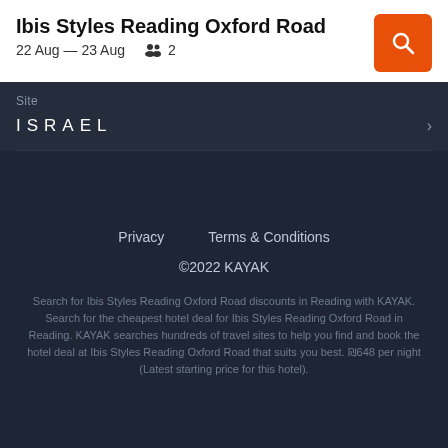Ibis Styles Reading Oxford Road
22 Aug — 23 Aug  2
Site
ISRAEL
Privacy   Terms & Conditions
©2022 KAYAK
Search for Ibis Styles Reading Oxford Road discounts in Reading with KAYAK. Search for the cheapest hotel deal for Ibis Styles Reading Oxford Road in Reading. KAYAK searches hundreds of travel sites to help you find and book the hotel deal at Ibis Styles Reading Oxford Road that suits you best. ₪648 per night (Latest starting price for this hotel).